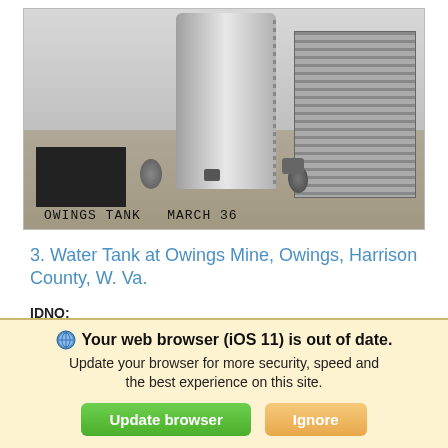[Figure (photo): Black and white historical photograph of industrial water tanks at Owings Mine. Shows a large cylindrical metal tank in the center, a wooden barrel-stave tank on the right, a dark boxy structure on the left, scattered barrels and equipment on the ground. Handwritten caption at bottom reads: OWINGS TANK   MARCH 36]
OWINGS TANK   MARCH 36
3. Water Tank at Owings Mine, Owings, Harrison County, W. Va.
IDNO:
026736
Title:
Water Tank at Owings Mine, Owings, Harrison County
Your web browser (iOS 11) is out of date.
Update your browser for more security, speed and the best experience on this site.